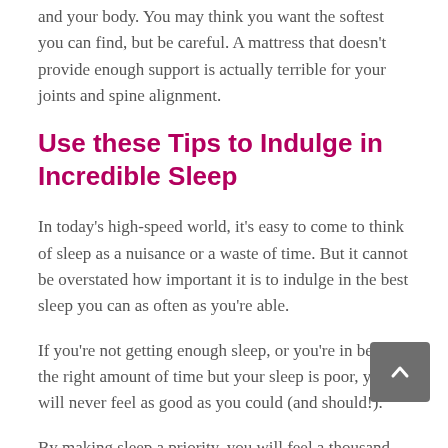and your body. You may think you want the softest you can find, but be careful. A mattress that doesn't provide enough support is actually terrible for your joints and spine alignment.
Use these Tips to Indulge in Incredible Sleep
In today's high-speed world, it's easy to come to think of sleep as a nuisance or a waste of time. But it cannot be overstated how important it is to indulge in the best sleep you can as often as you're able.
If you're not getting enough sleep, or you're in bed for the right amount of time but your sleep is poor, you will never feel as good as you could (and should!).
By making sleep a priority, you will feel a thousand